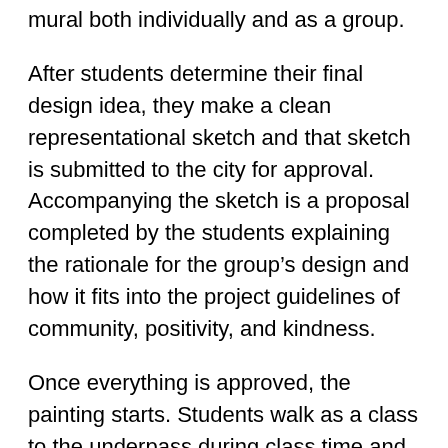mural both individually and as a group.
After students determine their final design idea, they make a clean representational sketch and that sketch is submitted to the city for approval. Accompanying the sketch is a proposal completed by the students explaining the rationale for the group's design and how it fits into the project guidelines of community, positivity, and kindness.
Once everything is approved, the painting starts. Students walk as a class to the underpass during class time and work on the project for about 2-3 weeks. We have found time to be our biggest challenge, by the time the students walk to the site and get all the materials set up, it seems when we finally get painting, it's already time to start cleaning up and heading back to school. I complement our students in doing a really good job of being